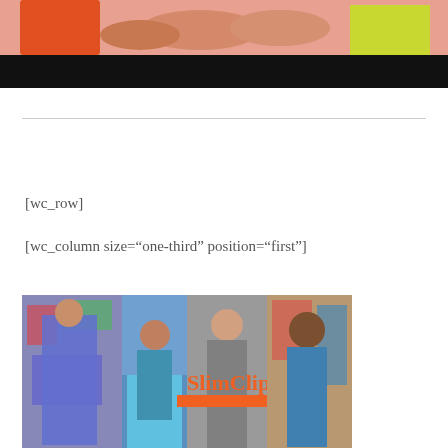[Figure (photo): Top portion of a fitness/sports photo showing hands and athletic gear with orange and yellow colors, partially cropped with black bar at bottom]
[wc_row]
[wc_column size="one-third" position="first"]
[Figure (photo): Collage of fitness athletes with colorful backgrounds and 'SlimClip' orange text overlay]